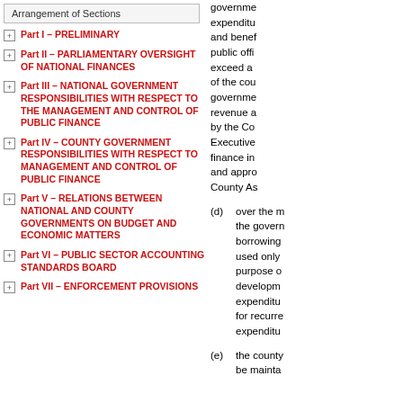Arrangement of Sections
Part I – PRELIMINARY
Part II – PARLIAMENTARY OVERSIGHT OF NATIONAL FINANCES
Part III – NATIONAL GOVERNMENT RESPONSIBILITIES WITH RESPECT TO THE MANAGEMENT AND CONTROL OF PUBLIC FINANCE
Part IV – COUNTY GOVERNMENT RESPONSIBILITIES WITH RESPECT TO MANAGEMENT AND CONTROL OF PUBLIC FINANCE
Part V – RELATIONS BETWEEN NATIONAL AND COUNTY GOVERNMENTS ON BUDGET AND ECONOMIC MATTERS
Part VI – PUBLIC SECTOR ACCOUNTING STANDARDS BOARD
Part VII – ENFORCEMENT PROVISIONS
government expenditure and benefits public officials exceed a of the county government revenue and by the County Executive finance in and approved County Assembly.
(d) over the management the government borrowing used only purpose of development expenditure for recurrent expenditure
(e) the county be maintained